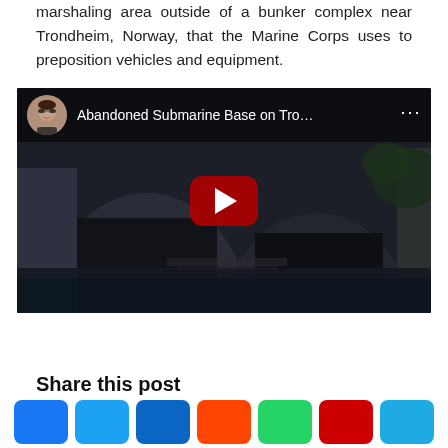marshaling area outside of a bunker complex near Trondheim, Norway, that the Marine Corps uses to preposition vehicles and equipment.
[Figure (screenshot): YouTube video embed showing 'Abandoned Submarine Base on Tro...' with a dark thumbnail of an abandoned submarine base interior with arched tunnels and water, and a red YouTube play button in the center.]
Share this post